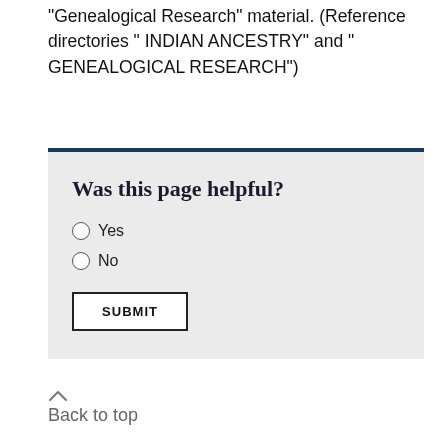"Genealogical Research" material. (Reference directories " INDIAN ANCESTRY" and " GENEALOGICAL RESEARCH")
[Figure (other): Feedback widget with title 'Was this page helpful?', Yes/No radio buttons, and a SUBMIT button, on a light grey background with a dark blue top border.]
Back to top